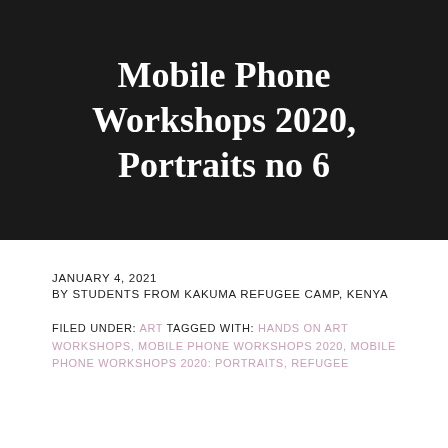Mobile Phone Workshops 2020, Portraits no 6
JANUARY 4, 2021
BY STUDENTS FROM KAKUMA REFUGEE CAMP, KENYA
FILED UNDER: ART TAGGED WITH: HANDS ON ART WORKSHOPS, MOBILE PHONE WORKSHOPS 2020, MOBILE PHONE WORKSHOPS 2020: PORTRAITS, REFUGEE